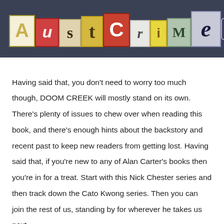[Figure (logo): AustCrime website logo with ransom-note style letters on dark navy header bar, with hamburger menu icon in top right]
Having said that, you don't need to worry too much though, DOOM CREEK will mostly stand on its own. There's plenty of issues to chew over when reading this book, and there's enough hints about the backstory and recent past to keep new readers from getting lost. Having said that, if you're new to any of Alan Carter's books then you're in for a treat. Start with this Nick Chester series and then track down the Cato Kwong series. Then you can join the rest of us, standing by for wherever he takes us next.